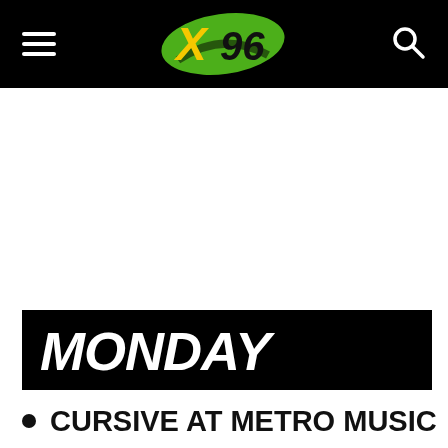X96 navigation header with hamburger menu and search icon
MONDAY
CURSIVE AT METRO MUSIC